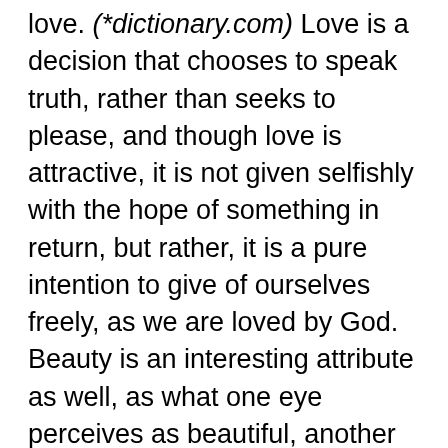love. (*dictionary.com) Love is a decision that chooses to speak truth, rather than seeks to please, and though love is attractive, it is not given selfishly with the hope of something in return, but rather, it is a pure intention to give of ourselves freely, as we are loved by God. Beauty is an interesting attribute as well, as what one eye perceives as beautiful, another finds ordinary. However, those with beautiful hearts are most often remembered as beautiful. So often, the more I know the heart of someone, the more beautiful they become in my eyes. Physical beauty fades, but beauty of the heart continues to grow as we walk more closely with the Lord. The to be praised portion of this verse reminds me that there are